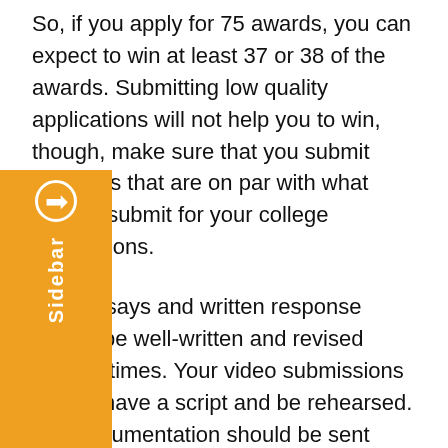So, if you apply for 75 awards, you can expect to win at least 37 or 38 of the awards. Submitting low quality applications will not help you to win, though, make sure that you submit materials that are on par with what you'd s submit for your college applications.
Your essays and written response should be well-written and revised several times. Your video submissions should have a script and be rehearsed. Any documentation should be sent through appropriate channels of receipt. The more high-